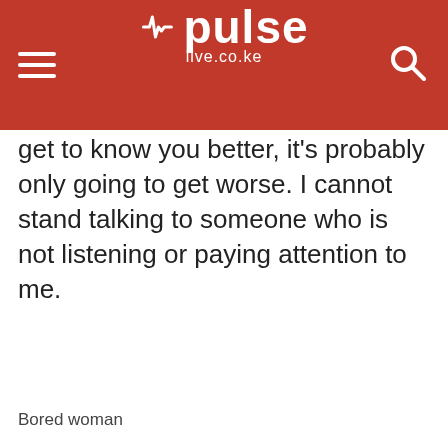pulse live.co.ke
get to know you better, it's probably only going to get worse. I cannot stand talking to someone who is not listening or paying attention to me.
[Figure (photo): White/blank image area representing a bored woman photo]
Bored woman